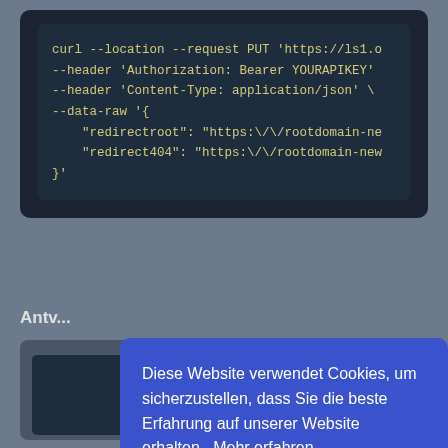[Figure (screenshot): Dark-themed code block showing a curl PUT request with Authorization and Content-Type headers and a JSON body with redirectroot and redirect404 fields.]
Antv...
[Figure (screenshot): Cookie consent overlay in German on a blue background: 'Diese Website verwendet Cookies, um sicherzustellen, dass Sie die beste Erfahrung auf unserer Website erhalten. Mehr erfahren' with an 'Ich habs!' button.]